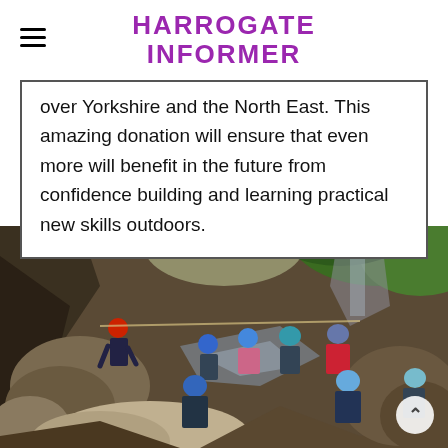HARROGATE INFORMER
over Yorkshire and the North East. This amazing donation will ensure that even more will benefit in the future from confidence building and learning practical new skills outdoors.
[Figure (photo): Group of children and adults wearing helmets and wetsuits canyoning through a rocky gorge with waterfalls and green moss-covered rocks]